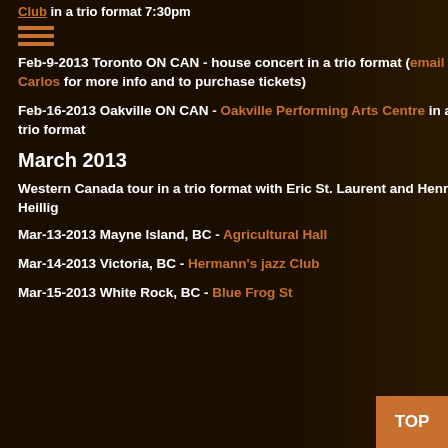Club in a trio format 7:30pm
Feb-9-2013 Toronto ON CAN - house concert in a trio format (email Carlos for more info and to purchase tickets)
Feb-16-2013 Oakville ON CAN - Oakville Performing Arts Centre in a trio format
March 2013
Western Canada tour in a trio format with Eric St. Laurent and Henry Heillig
Mar-13-2013 Mayne Island, BC - Agricultural Hall
Mar-14-2013 Victoria, BC - Hermann's jazz Club
Mar-15-2013 White Rock, BC - Blue Frog St